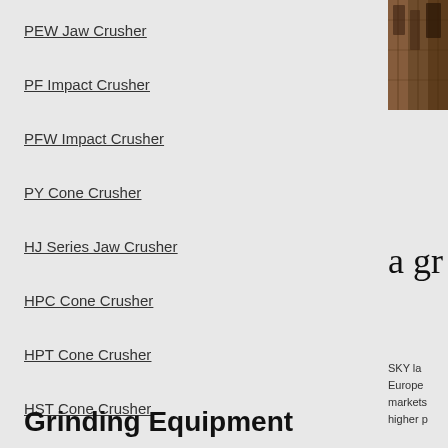PEW Jaw Crusher
PF Impact Crusher
PFW Impact Crusher
PY Cone Crusher
HJ Series Jaw Crusher
HPC Cone Crusher
HPT Cone Crusher
HST Cone Crusher
CS Cone Crusher
Hammer Crusher
VSI Crusher
VSI5X Crusher
[Figure (photo): Photo of industrial crushing or mining equipment, partially visible on right side]
a gr
SKY la Europe markets higher p
Lea
If you c your co
Grinding Equipment